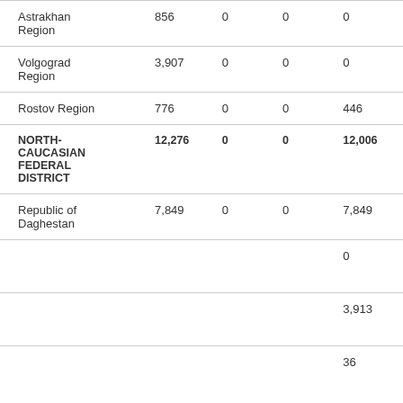| Region | Col2 | Col3 | Col4 | Col5 |
| --- | --- | --- | --- | --- |
| Astrakhan Region | 856 | 0 | 0 | 0 |
| Volgograd Region | 3,907 | 0 | 0 | 0 |
| Rostov Region | 776 | 0 | 0 | 446 |
| NORTH-CAUCASIAN FEDERAL DISTRICT | 12,276 | 0 | 0 | 12,006 |
| Republic of Daghestan | 7,849 | 0 | 0 | 7,849 |
|  |  |  |  | 0 |
|  |  |  |  | 3,913 |
|  |  |  |  | 36 |
The Bank of Russia website uses cookies
By using www.cbr.ru, you accept the User Agreement.
Accept